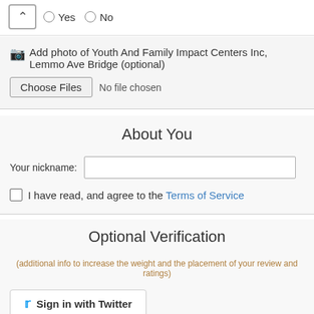Yes   No (radio buttons)
Add photo of Youth And Family Impact Centers Inc, Lemmo Ave Bridge (optional)
Choose Files   No file chosen
About You
Your nickname:
I have read, and agree to the Terms of Service
Optional Verification
(additional info to increase the weight and the placement of your review and ratings)
Sign in with Twitter
Real Name:
Email (won't be published):